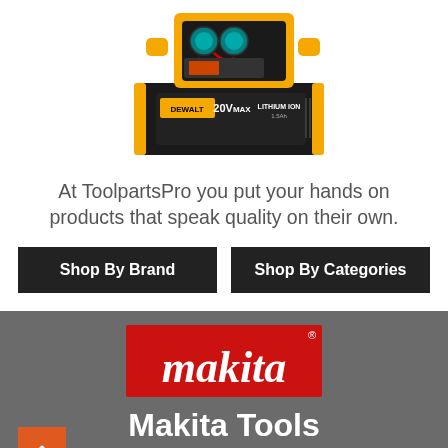[Figure (photo): DeWalt 20V MAX Lithium Ion 1.5Ah battery pack shown disassembled/exploded view with yellow and black housing, internal components visible]
At ToolpartsPro you put your hands on products that speak quality on their own.
Shop By Brand
Shop By Categories
[Figure (logo): Makita logo — white script text on red rectangle background]
Makita Tools
View all Categories